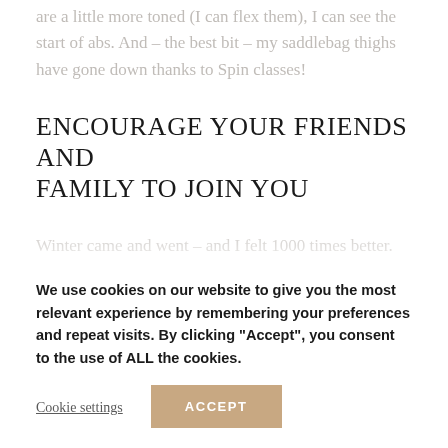are a little more toned (I can flex them), I can see the start of abs. And – the best bit – my saddlebag thighs have gone down thanks to Spin classes!
ENCOURAGE YOUR FRIENDS AND FAMILY TO JOIN YOU
Winter came and went – and I felt 1000 times better. I've made friends at the gym and we meet up and go to classes together. My sister and my bbf have come to body combat and they are now both addicted. I've made new friends. I
We use cookies on our website to give you the most relevant experience by remembering your preferences and repeat visits. By clicking "Accept", you consent to the use of ALL the cookies.
Cookie settings
ACCEPT